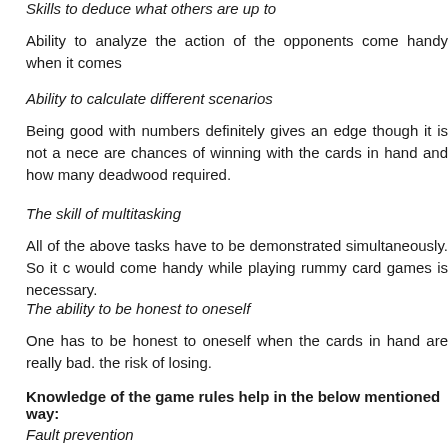Skills to deduce what others are up to
Ability to analyze the action of the opponents come handy when it comes
Ability to calculate different scenarios
Being good with numbers definitely gives an edge though it is not a nece are chances of winning with the cards in hand and how many deadwood required.
The skill of multitasking
All of the above tasks have to be demonstrated simultaneously. So it c would come handy while playing rummy card games is necessary.
The ability to be honest to oneself
One has to be honest to oneself when the cards in hand are really bad. the risk of losing.
Knowledge of the game rules help in the below mentioned way:
Fault prevention